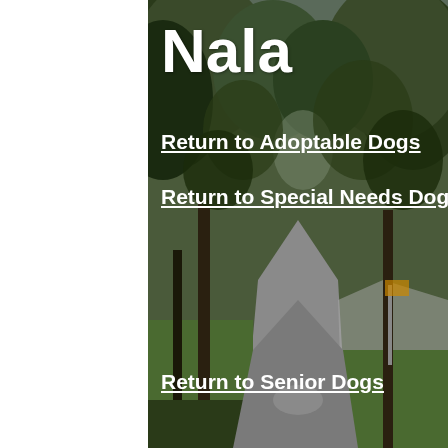[Figure (photo): A tree-lined path or road running into the distance, with green trees on both sides and grass visible. The path curves slightly to the right. The photo has a naturalistic outdoor setting.]
Nala
Return to Adoptable Dogs
Return to Special Needs Dogs
Return to Senior Dogs